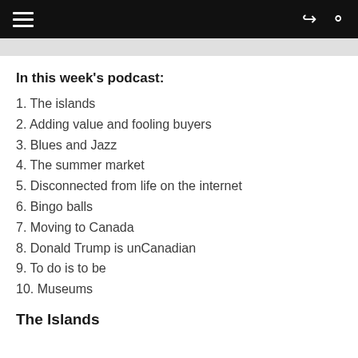In this week's podcast:
1. The islands
2. Adding value and fooling buyers
3. Blues and Jazz
4. The summer market
5. Disconnected from life on the internet
6. Bingo balls
7. Moving to Canada
8. Donald Trump is unCanadian
9. To do is to be
10. Museums
The Islands